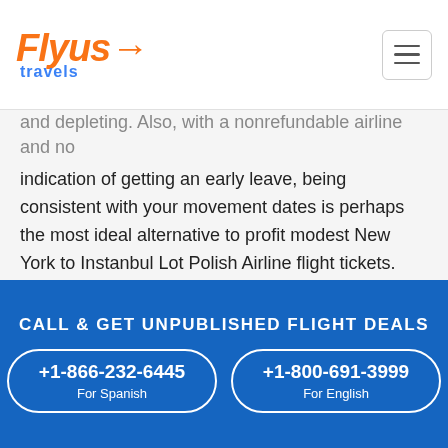[Figure (logo): Flyus Travels logo with orange cursive text and blue subtitle, hamburger menu icon on right]
and depleting. Also, with a nonrefundable airline and no indication of getting an early leave, being consistent with your movement dates is perhaps the most ideal alternative to profit modest New York to Instanbul Lot Polish Airline flight tickets. Subsequently, in the event that you are happy to twist your principles a piece, you will be less disposed to worry about the consumption because of benefiting modest air tickets.
Probably the best strategy to benefit modest flights is by flying during the slow time of year. Midweek, occasions, odd hours, and so on all lead to getting modest flight tickets. All the time, carriers will in general give out
CALL & GET UNPUBLISHED FLIGHT DEALS
+1-866-232-6445
For Spanish
+1-800-691-3999
For English